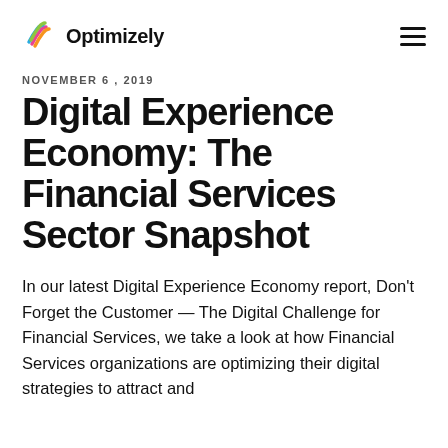Optimizely
NOVEMBER 6, 2019
Digital Experience Economy: The Financial Services Sector Snapshot
In our latest Digital Experience Economy report, Don't Forget the Customer — The Digital Challenge for Financial Services, we take a look at how Financial Services organizations are optimizing their digital strategies to attract and